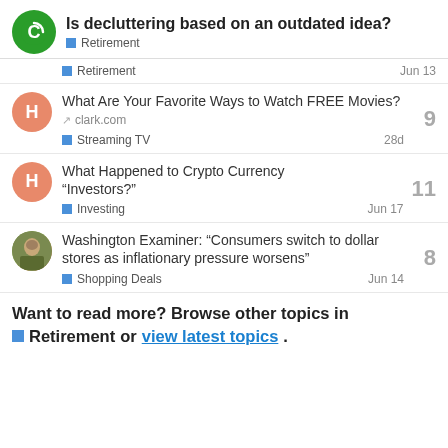Is decluttering based on an outdated idea? — Retirement
Retirement — Jun 13
What Are Your Favorite Ways to Watch FREE Movies? clark.com — Streaming TV — 28d — 9 replies
What Happened to Crypto Currency "Investors?" — Investing — Jun 17 — 11 replies
Washington Examiner: "Consumers switch to dollar stores as inflationary pressure worsens" — Shopping Deals — Jun 14 — 8 replies
Want to read more? Browse other topics in Retirement or view latest topics.